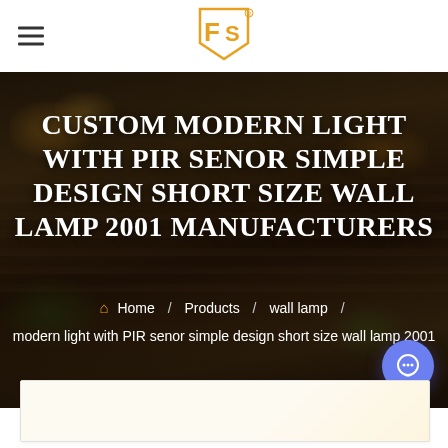[Figure (logo): Company logo with stylized 'FS' letters in orange/gold color]
[Figure (photo): Dark nighttime exterior photo of a modern house with stone brick facade and warm interior lighting]
CUSTOM MODERN LIGHT WITH PIR SENOR SIMPLE DESIGN SHORT SIZE WALL LAMP 2001 MANUFACTURERS
Home / Products / wall lamp / modern light with PIR senor simple design short size wall lamp 2001